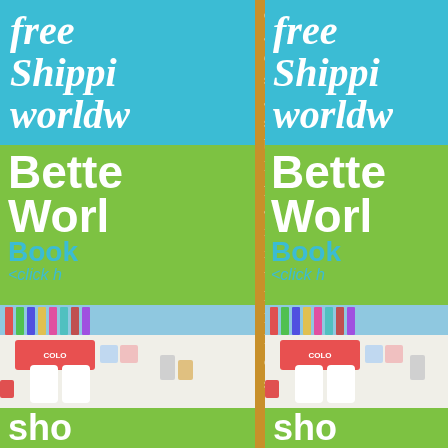[Figure (illustration): Left advertisement banner with teal top section showing 'free Shipping worldwide' text and green bottom section showing 'Better World Books <click here>' text]
discipline.[2][3] Historians admire Prescott for his exhaustive, careful, and systematic use of archives, his accurate recreation of sequences of events, his balanced judgments and his lively writing style. He was primarily focused on political and military affairs, largely ignoring economic, social, intellectual, and cultural forces that in recent decades historians have focused on. Instead, he wrote narrative history, subsuming unstated causal forces in his driving storyline.[4]
THE HISTORY OF THE CONQUEST OF MEXICO
[Figure (illustration): Art supplies photo showing colored pencils, paint bottles, and school supplies]
[Figure (illustration): Right advertisement banner mirroring the left, with teal top section 'free Shipping worldwide' and green section 'Better World Books']
[Figure (illustration): Right art supplies photo mirroring left]